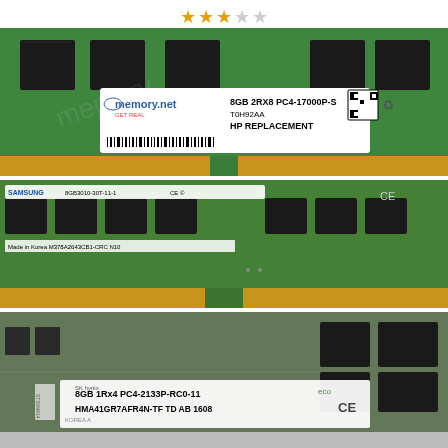[Figure (photo): Three gold stars and two empty stars rating at top center of page]
[Figure (photo): memory.net branded 8GB 2RX8 PC4-17000P-S T0H92AA HP Replacement SO-DIMM RAM module on green PCB with white label]
[Figure (photo): Samsung 8GB DDR4 RAM module (M378A2643CB1-CRC) on green PCB with small label]
[Figure (photo): SK Hynix 8GB 1Rx4 PC4-2133P-RC0-11 HMA41GR7AFR4N-TF TD AB 1608 RAM module closeup showing label]